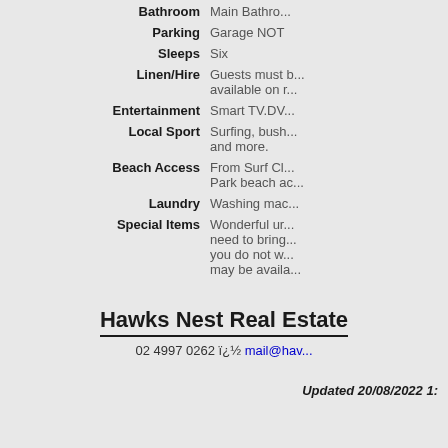| Field | Value |
| --- | --- |
| Bathroom | Main Bathro... |
| Parking | Garage NOT |
| Sleeps | Six |
| Linen/Hire | Guests must b... available on r... |
| Entertainment | Smart TV.DV... |
| Local Sport | Surfing, bush... and more. |
| Beach Access | From Surf Cl... Park beach ac... |
| Laundry | Washing mac... |
| Special Items | Wonderful ur... need to bring... you do not w... may be availa... |
Hawks Nest Real Estate
02 4997 0262 ï¿½ mail@hav...
Updated 20/08/2022 1: